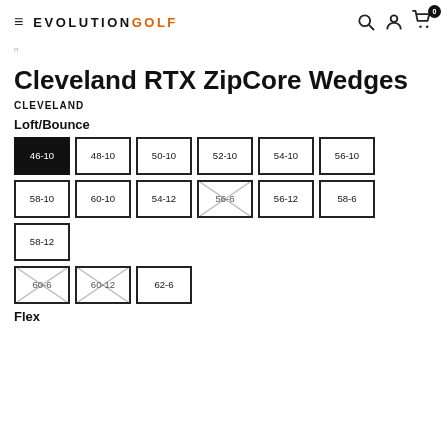EVOLUTION GOLF
Cleveland RTX ZipCore Wedges
CLEVELAND
Loft/Bounce
46-10 (selected), 48-10, 50-10, 52-10, 54-10, 56-10, 58-10, 60-10, 54-12, 56-6 (unavailable), 56-12, 58-6, 58-12, 60-6 (unavailable), 60-12 (unavailable), 62-6
Flex